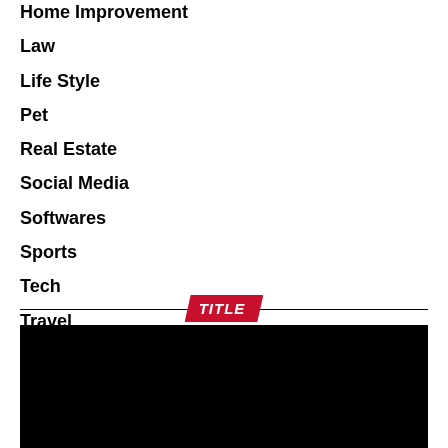Home Improvement
Law
Life Style
Pet
Real Estate
Social Media
Softwares
Sports
Tech
Travel
Viral
Weight Loss
TITLE
[Figure (photo): Black rectangle image area below TITLE section header]